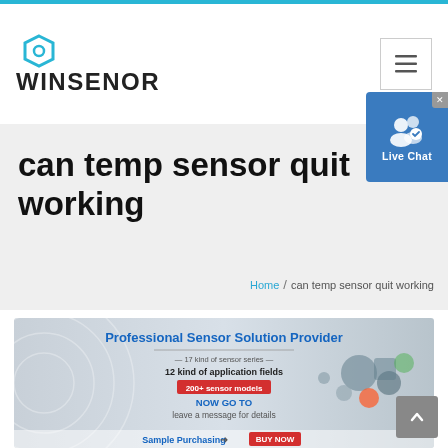WINSENOR
can temp sensor quit working
Home / can temp sensor quit working
[Figure (illustration): Winsenor professional sensor solution provider banner showing various sensor products, text reading: Professional Sensor Solution Provider, 17 kind of sensor series, 12 kind of application fields, 200+ sensor models, NOW GO TO leave a message for details, Sample Purchasing BUY NOW]
[Figure (infographic): Live chat widget button with user icon and checkmark]